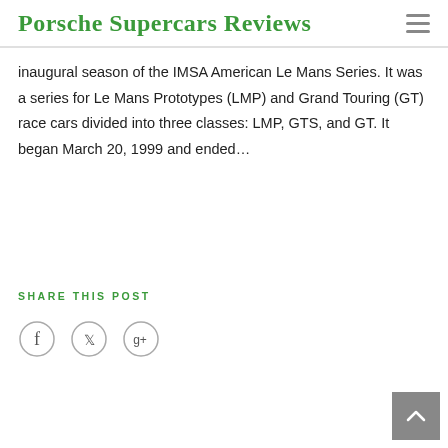Porsche Supercars Reviews
inaugural season of the IMSA American Le Mans Series. It was a series for Le Mans Prototypes (LMP) and Grand Touring (GT) race cars divided into three classes: LMP, GTS, and GT. It began March 20, 1999 and ended…
SHARE THIS POST
[Figure (illustration): Three circular social media share icons: Facebook (f), Twitter (bird), Google+ (g+)]